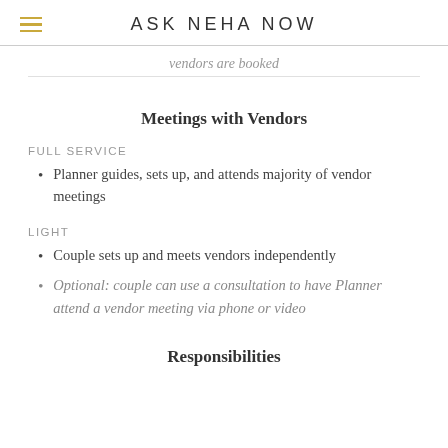ASK NEHA NOW
vendors are booked
Meetings with Vendors
FULL SERVICE
Planner guides, sets up, and attends majority of vendor meetings
LIGHT
Couple sets up and meets vendors independently
Optional: couple can use a consultation to have Planner attend a vendor meeting via phone or video
Responsibilities